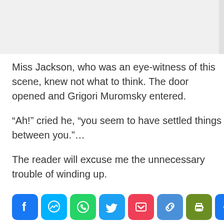Miss Jackson, who was an eye-witness of this scene, knew not what to think. The door opened and Grigori Muromsky entered.
“Ah!” cried he, “you seem to have settled things between you.”…
The reader will excuse me the unnecessary trouble of winding up.
[Figure (other): Social sharing icon bar with Facebook, Messenger, WhatsApp, Twitter, Pocket, Link, Print, and Share buttons]